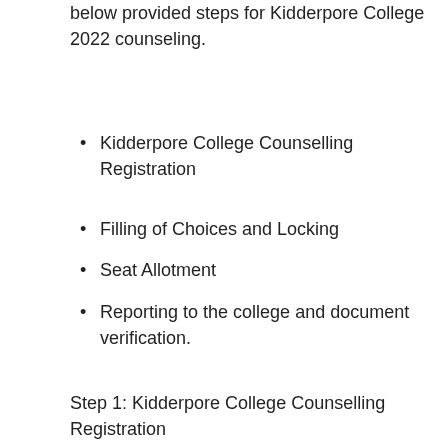below provided steps for Kidderpore College 2022 counseling.
Kidderpore College Counselling Registration
Filling of Choices and Locking
Seat Allotment
Reporting to the college and document verification.
Step 1: Kidderpore College Counselling Registration
Visit the official website of Kidderpore College i.e., http://kidderporecollege.com
Go to Online Registration Portal.
Enter the registration form with